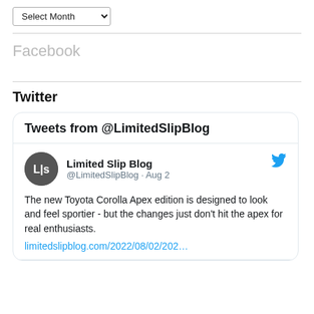[Figure (screenshot): Select Month dropdown widget]
Facebook
Twitter
[Figure (screenshot): Twitter widget showing Tweets from @LimitedSlipBlog. Tweet from Limited Slip Blog @LimitedSlipBlog · Aug 2: The new Toyota Corolla Apex edition is designed to look and feel sportier - but the changes just don't hit the apex for real enthusiasts. limitedslipblog.com/2022/08/02/202…]